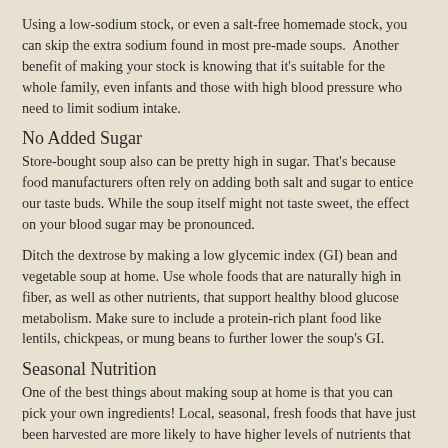Using a low-sodium stock, or even a salt-free homemade stock, you can skip the extra sodium found in most pre-made soups.  Another benefit of making your stock is knowing that it's suitable for the whole family, even infants and those with high blood pressure who need to limit sodium intake.
No Added Sugar
Store-bought soup also can be pretty high in sugar. That's because food manufacturers often rely on adding both salt and sugar to entice our taste buds. While the soup itself might not taste sweet, the effect on your blood sugar may be pronounced.
Ditch the dextrose by making a low glycemic index (GI) bean and vegetable soup at home. Use whole foods that are naturally high in fiber, as well as other nutrients, that support healthy blood glucose metabolism. Make sure to include a protein-rich plant food like lentils, chickpeas, or mung beans to further lower the soup's GI.
Seasonal Nutrition
One of the best things about making soup at home is that you can pick your own ingredients! Local, seasonal, fresh foods that have just been harvested are more likely to have higher levels of nutrients that are at risk to be lost during storage or processing, especially water-